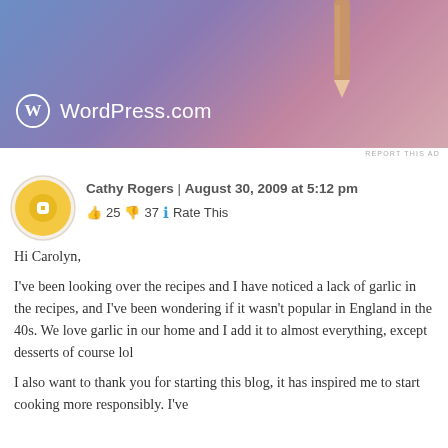[Figure (screenshot): WordPress.com advertisement banner with blue-purple gradient background, WordPress logo and wordmark in white, and a pencil graphic in the upper right.]
REPORT THIS AD
Cathy Rogers | August 30, 2009 at 5:12 pm
👍 25 👎 37 ℹ Rate This
Hi Carolyn,
I've been looking over the recipes and I have noticed a lack of garlic in the recipes, and I've been wondering if it wasn't popular in England in the 40s. We love garlic in our home and I add it to almost everything, except desserts of course lol
I also want to thank you for starting this blog, it has inspired me to start cooking more responsibly. I've